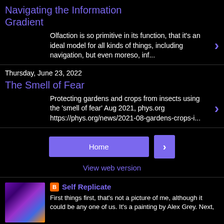Navigating the Information Gradient
Olfaction is so primitive in its function, that it's an ideal model for all kinds of things,  including navigation, but even moreso, inf...
Thursday, June 23, 2022
The Smell of Fear
Protecting gardens and crops from insects using the 'smell of fear' Aug 2021, phys.org https://phys.org/news/2021-08-gardens-crops-i...
Home
View web version
Self Replicate
First things first, that's not a picture of me, although it could be any one of us. It's a painting by Alex Grey. Next,